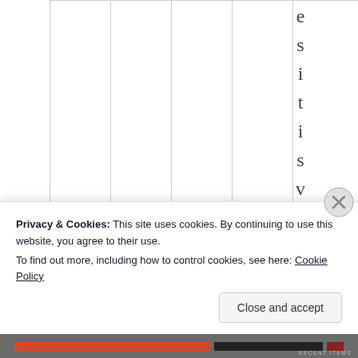[Figure (other): A table or chart area with vertical column lines and vertical text reading 'esistively' displayed character by character top to bottom on the right side of the grid.]
Privacy & Cookies: This site uses cookies. By continuing to use this website, you agree to their use.
To find out more, including how to control cookies, see here: Cookie Policy
Close and accept